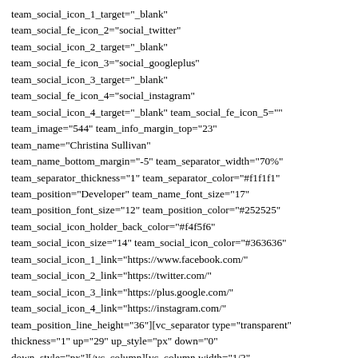team_social_icon_1_target="_blank" team_social_fe_icon_2="social_twitter" team_social_icon_2_target="_blank" team_social_fe_icon_3="social_googleplus" team_social_icon_3_target="_blank" team_social_fe_icon_4="social_instagram" team_social_icon_4_target="_blank" team_social_fe_icon_5="" team_image="544" team_info_margin_top="23" team_name="Christina Sullivan" team_name_bottom_margin="-5" team_separator_width="70%" team_separator_thickness="1" team_separator_color="#f1f1f1" team_position="Developer" team_name_font_size="17" team_position_font_size="12" team_position_color="#252525" team_social_icon_holder_back_color="#f4f5f6" team_social_icon_size="14" team_social_icon_color="#363636" team_social_icon_1_link="https://www.facebook.com/" team_social_icon_2_link="https://twitter.com/" team_social_icon_3_link="https://plus.google.com/" team_social_icon_4_link="https://instagram.com/" team_position_line_height="36"][vc_separator type="transparent" thickness="1" up="29" up_style="px" down="0" down_style="px"][/vc_column][vc_column width="1/2" offset="vc_col-lg-3 vc_col-md-3 vc_col-xs-12"][no_team team_type="below_image" team_name_tag="h5" team_name_font_weight="700" team_name_text_transform="uppercase"